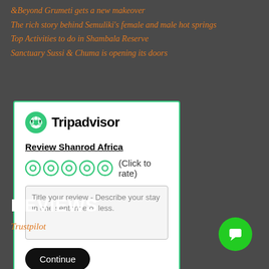&Beyond Grumeti gets a new makeover
The rich story behind Semuliki's female and male hot springs
Top Activities to do in Shambala Reserve
Sanctuary Sussi & Chuma is opening its doors
[Figure (screenshot): Tripadvisor review widget for Shanrod Africa showing logo, star rating circles (click to rate), a text area for review title, and a Continue button]
REVIEWS
Trustpilot